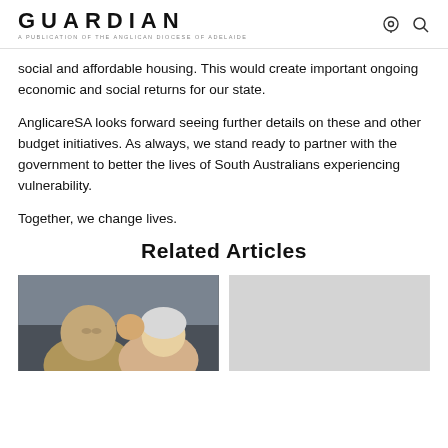GUARDIAN — A PUBLICATION OF THE ANGLICAN DIOCESE OF ADELAIDE
social and affordable housing. This would create important ongoing economic and social returns for our state.
AnglicareSA looks forward seeing further details on these and other budget initiatives. As always, we stand ready to partner with the government to better the lives of South Australians experiencing vulnerability.
Together, we change lives.
Related Articles
[Figure (photo): Two adults and a child, one adult kissing the cheek of another adult]
[Figure (photo): A grey/light coloured placeholder image for a related article]